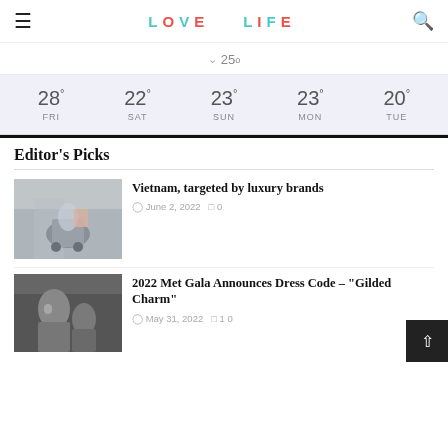LOVE LIFE (logo with icon)
25°
| FRI | SAT | SUN | MON | TUE |
| --- | --- | --- | --- | --- |
| 28° | 22° | 23° | 23° | 20° |
Editor's Picks
[Figure (photo): Bicycle rider with flowers in Vietnam street scene]
Vietnam, targeted by luxury brands
June 2, 2022  0
[Figure (photo): Woman in elegant dress at Met Gala event]
2022 Met Gala Announces Dress Code – "Gilded Charm"
May 31, 2022  1 0